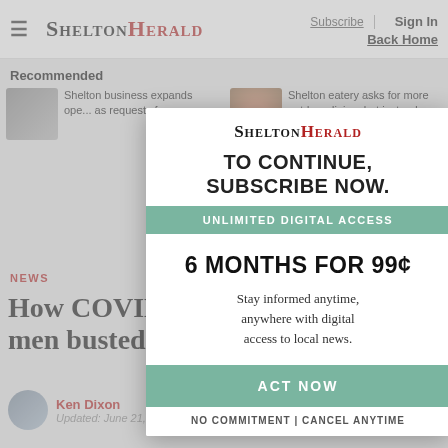≡  SHELTON HERALD    Subscribe | Sign In    Back Home
Recommended
Shelton business expands ope... as requests for...
Shelton eatery asks for more outdoor dining, but instead
[Figure (screenshot): Subscription modal overlay on Shelton Herald news website. Modal contains logo, 'TO CONTINUE, SUBSCRIBE NOW.' headline, 'UNLIMITED DIGITAL ACCESS' bar, '6 MONTHS FOR 99¢' offer, body text 'Stay informed anytime, anywhere with digital access to local news.', 'ACT NOW' button, and 'NO COMMITMENT | CANCEL ANYTIME' footer.]
NEWS
How COVID and CT's changed two men busted with 420 poun
Ken Dixon
Updated: June 21, 2022 7:32 a.m.